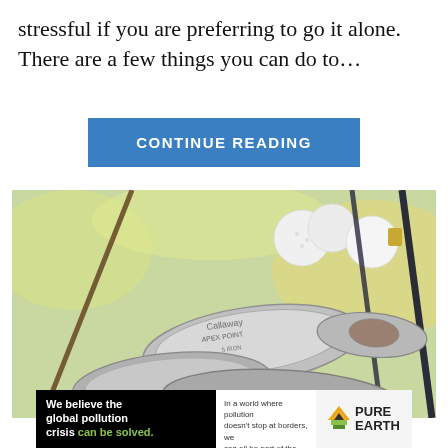stressful if you are preferring to go it alone. There are a few things you can do to…
[Figure (other): Blue button labeled CONTINUE READING]
[Figure (photo): Close-up photo of golf club irons (Callaway brand) with golf balls visible in the background. Text overlay reads: No compatible source was found for this media.]
[Figure (other): Pure Earth advertisement banner. Left black section: 'We believe the global pollution crisis can be solved.' Middle white section: 'In a world where pollution doesn't stop at borders, we can all be part of the solution. JOIN US.' Right section: Pure Earth logo with diamond/arrow icon.]